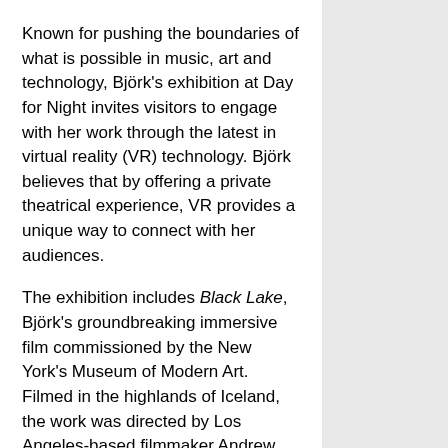Known for pushing the boundaries of what is possible in music, art and technology, Björk's exhibition at Day for Night invites visitors to engage with her work through the latest in virtual reality (VR) technology. Björk believes that by offering a private theatrical experience, VR provides a unique way to connect with her audiences.
The exhibition includes Black Lake, Björk's groundbreaking immersive film commissioned by the New York's Museum of Modern Art. Filmed in the highlands of Iceland, the work was directed by Los Angeles-based filmmaker Andrew Thomas Huang, whom she also collaborated with for Stonemilker VR, a project that transports the viewer to a private performance of the first track from Björk's critically acclaimed Vulnicura album. Shot